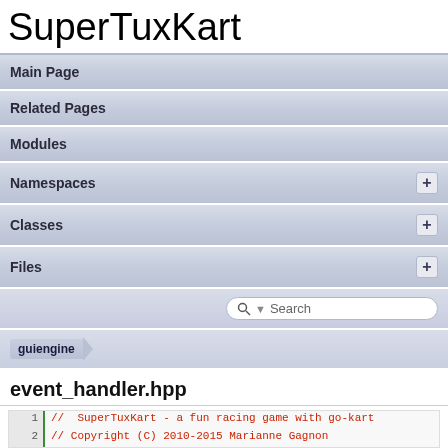SuperTuxKart
Main Page
Related Pages
Modules
Namespaces
Classes
Files
event_handler.hpp
1 //  SuperTuxKart - a fun racing game with go-kart
2 // Copyright (C) 2010-2015 Marianne Gagnon